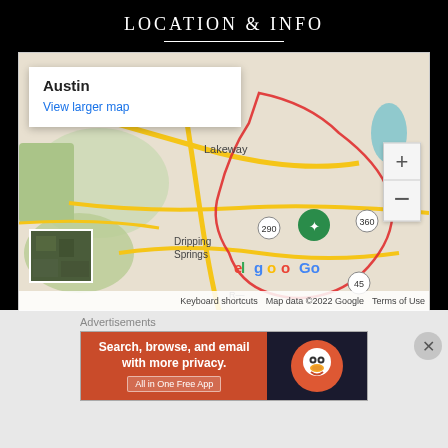LOCATION & INFO
[Figure (map): Google Map showing Austin, Texas area with Lakeway, Dripping Springs, roads 71, 290, 360, 45. Popup shows 'Austin' and 'View larger map' link. Zoom controls visible on right. Satellite thumbnail in bottom left. Bottom bar shows 'Keyboard shortcuts | Map data ©2022 Google | Terms of Use'.]
Austin, Texas
1-347-522-3450
Advertisements
[Figure (screenshot): DuckDuckGo advertisement banner: orange section says 'Search, browse, and email with more privacy. All in One Free App', dark section shows DuckDuckGo logo.]